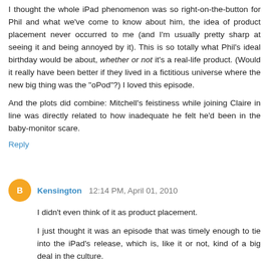I thought the whole iPad phenomenon was so right-on-the-button for Phil and what we've come to know about him, the idea of product placement never occurred to me (and I'm usually pretty sharp at seeing it and being annoyed by it). This is so totally what Phil's ideal birthday would be about, whether or not it's a real-life product. (Would it really have been better if they lived in a fictitious universe where the new big thing was the "oPod"?) I loved this episode.
And the plots did combine: Mitchell's feistiness while joining Claire in line was directly related to how inadequate he felt he'd been in the baby-monitor scare.
Reply
Kensington  12:14 PM, April 01, 2010
I didn't even think of it as product placement.
I just thought it was an episode that was timely enough to tie into the iPad's release, which is, like it or not, kind of a big deal in the culture.